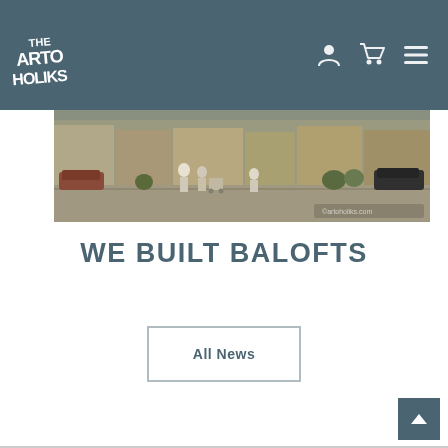Artoholiks navigation header with logo and icons
[Figure (photo): Street scene photo showing people walking on a urban street with buildings, cars, and storefronts in the background]
WE BUILT BALOFTS
All News